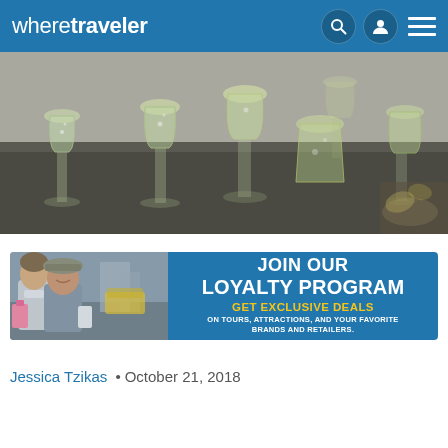wheretraveler
[Figure (photo): Close-up photo of multiple champagne flute glasses filled with sparkling wine on a dark tray]
[Figure (infographic): Advertisement banner: JOIN OUR LOYALTY PROGRAM – GET EXCLUSIVE DEALS ON TOURS, ATTRACTIONS, AND YOUR FAVORITE BRANDS AND RETAILERS. Shows two people shopping on the left side.]
Jessica Tzikas • October 21, 2018